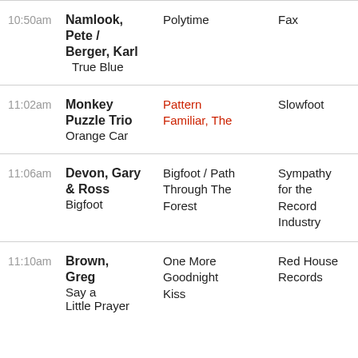| Time | Artist / Album | Track | Label |
| --- | --- | --- | --- |
| 10:50am | Namlook, Pete / Berger, Karl  True Blue | Polytime | Fax |
| 11:02am | Monkey Puzzle Trio  Orange Car | Pattern Familiar, The | Slowfoot |
| 11:06am | Devon, Gary & Ross  Bigfoot | Bigfoot / Path Through The Forest | Sympathy for the Record Industry |
| 11:10am | Brown, Greg  Say a Little Prayer | One More Goodnight Kiss | Red House Records |